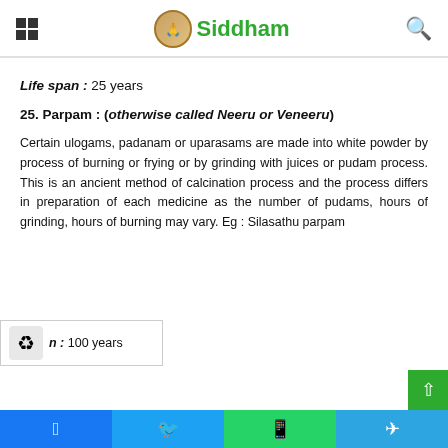Siddham
Life span : 25 years
25. Parpam : (otherwise called Neeru or Veneeru)
Certain ulogams, padanam or uparasams are made into white powder by process of burning or frying or by grinding with juices or pudam process. This is an ancient method of calcination process and the process differs in preparation of each medicine as the number of pudams, hours of grinding, hours of burning may vary. Eg : Silasathu parpam
n : 100 years